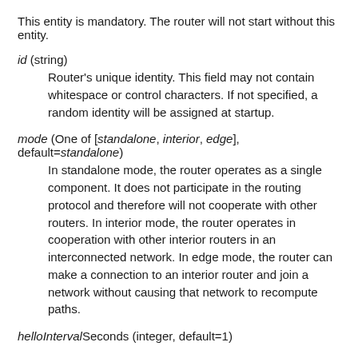This entity is mandatory. The router will not start without this entity.
id (string)
    Router's unique identity. This field may not contain whitespace or control characters. If not specified, a random identity will be assigned at startup.
mode (One of [standalone, interior, edge], default=standalone)
    In standalone mode, the router operates as a single component. It does not participate in the routing protocol and therefore will not cooperate with other routers. In interior mode, the router operates in cooperation with other interior routers in an interconnected network. In edge mode, the router can make a connection to an interior router and join a network without causing that network to recompute paths.
helloInterval Seconds (integer, default=1)